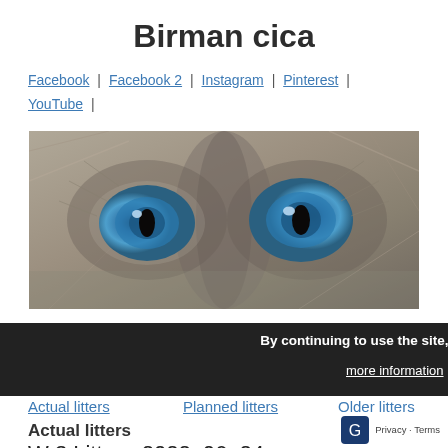Birman cica
Facebook | Facebook 2 | Instagram | Pinterest | YouTube |
[Figure (photo): Close-up photo of a Birman cat's face showing vivid blue eyes and grey/brown fur, cropped to show mainly the eye area.]
Menu
Actual litters   Planned litters   Older litters
Actual litters
W 3 Litter - 2022. 06. 24.
By continuing to use the site, you agree to the use of cookies. more information  Accept
Privacy · Terms